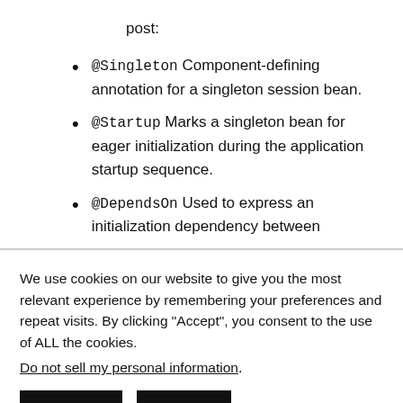post:
@Singleton Component-defining annotation for a singleton session bean.
@Startup Marks a singleton bean for eager initialization during the application startup sequence.
@DependsOn Used to express an initialization dependency between
We use cookies on our website to give you the most relevant experience by remembering your preferences and repeat visits. By clicking "Accept", you consent to the use of ALL the cookies.
Do not sell my personal information.
Settings  Accept